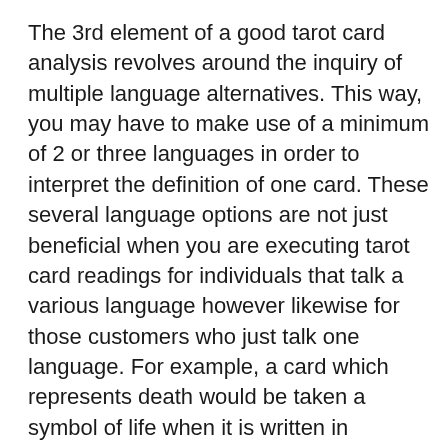The 3rd element of a good tarot card analysis revolves around the inquiry of multiple language alternatives. This way, you may have to make use of a minimum of 2 or three languages in order to interpret the definition of one card. These several language options are not just beneficial when you are executing tarot card readings for individuals that talk a various language however likewise for those customers who just talk one language. For example, a card which represents death would be taken a symbol of life when it is written in German, while its meaning would certainly be the absence of life. The exact same could be stated of a tarot card analysis for a person that only speaks English.